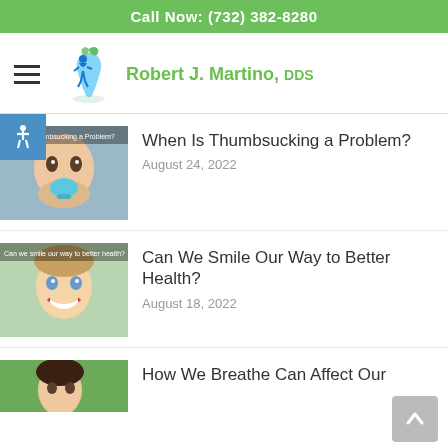Call Now: (732) 382-8280
[Figure (logo): Robert J. Martino DDS dental practice logo with stylized tooth/leaf figure and green/blue colors]
[Figure (photo): Baby with pacifier, blog thumbnail for 'When Is Thumbsucking a Problem?']
When Is Thumbsucking a Problem?
August 24, 2022
[Figure (photo): Smiling toddler, blog thumbnail for 'Can We Smile Our Way to Better Health?']
Can We Smile Our Way to Better Health?
August 18, 2022
[Figure (photo): Child outdoors, blog thumbnail for 'How We Breathe Can Affect Our Teeth']
How We Breathe Can Affect Our